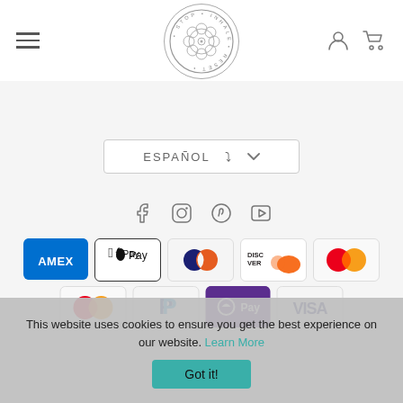Stop Inhale Reset - navigation header with logo
[Figure (logo): Stop Inhale Reset circular logo with mandala/flower design and text STOP INHALE RESET around circle]
ESPAÑOL
[Figure (infographic): Social media icons: Facebook, Instagram, Pinterest, YouTube]
[Figure (infographic): Payment method icons row 1: Amex, Apple Pay, Diners Club, Discover, Mastercard]
[Figure (infographic): Payment method icons row 2: Mastercard, PayPal, OPay, VISA]
This website uses cookies to ensure you get the best experience on our website. Learn More
Got it!